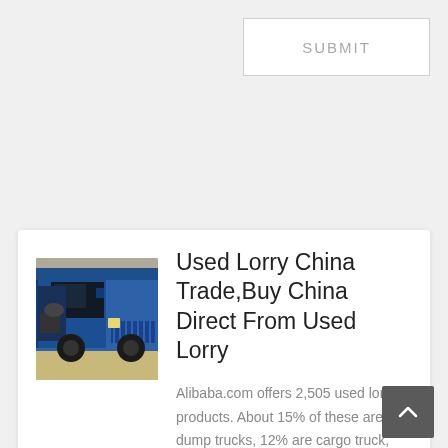SUBMIT
[Figure (photo): Blue dump truck / lorry cab viewed from the front-left side]
Used Lorry China Trade,Buy China Direct From Used Lorry
Alibaba.com offers 2,505 used lorry products. About 15% of these are dump trucks, 12% are cargo truck,